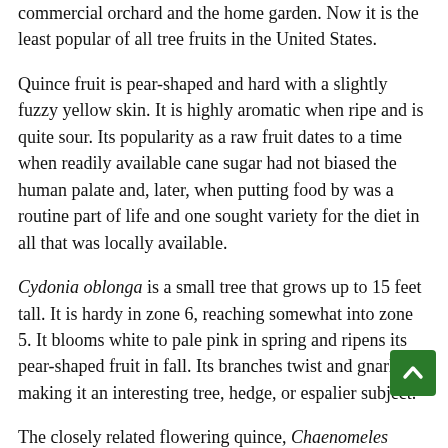commercial orchard and the home garden. Now it is the least popular of all tree fruits in the United States.
Quince fruit is pear-shaped and hard with a slightly fuzzy yellow skin. It is highly aromatic when ripe and is quite sour. Its popularity as a raw fruit dates to a time when readily available cane sugar had not biased the human palate and, later, when putting food by was a routine part of life and one sought variety for the diet in all that was locally available.
Cydonia oblonga is a small tree that grows up to 15 feet tall. It is hardy in zone 6, reaching somewhat into zone 5. It blooms white to pale pink in spring and ripens its pear-shaped fruit in fall. Its branches twist and gnarl, making it an interesting tree, hedge, or espalier subject.
The closely related flowering quince, Chaenomeles japonica or C. speciosa, forms a 4 to 8-foot shrub that is hardy to zone 4. In severe winters, the flower buds may